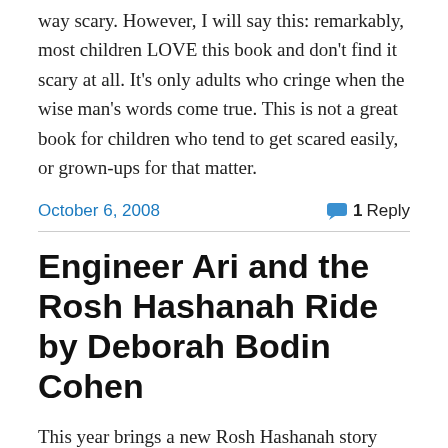way scary. However, I will say this: remarkably, most children LOVE this book and don't find it scary at all. It's only adults who cringe when the wise man's words come true. This is not a great book for children who tend to get scared easily, or grown-ups for that matter.
October 6, 2008   💬 1 Reply
Engineer Ari and the Rosh Hashanah Ride by Deborah Bodin Cohen
This year brings a new Rosh Hashanah story that will hit the mark with many young children, particularly those who have a fascination with train.